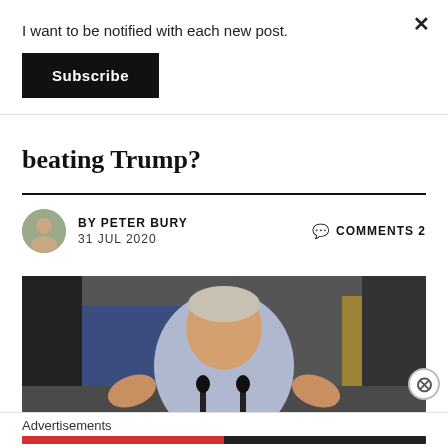I want to be notified with each new post.
Subscribe
beating Trump?
BY PETER BURY  31 JUL 2020   COMMENTS 2
[Figure (photo): Joe Biden speaking at a campaign rally at a podium with microphones, crowd in background, www.joebiden.com banner visible]
Advertisements